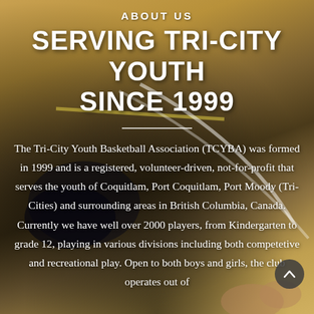ABOUT US
SERVING TRI-CITY YOUTH SINCE 1999
[Figure (photo): Background photo of a basketball court floor with a basketball player's shoe and part of a basketball visible. Warm amber/brown wooden floor tones with court lines.]
The Tri-City Youth Basketball Association (TCYBA) was formed in 1999 and is a registered, volunteer-driven, not-for-profit that serves the youth of Coquitlam, Port Coquitlam, Port Moody (Tri-Cities) and surrounding areas in British Columbia, Canada. Currently we have well over 2000 players, from Kindergarten to grade 12, playing in various divisions including both competetive and recreational play. Open to both boys and girls, the club operates out of